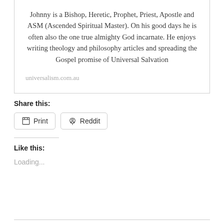Johnny is a Bishop, Heretic, Prophet, Priest, Apostle and ASM (Ascended Spiritual Master). On his good days he is often also the one true almighty God incarnate. He enjoys writing theology and philosophy articles and spreading the Gospel promise of Universal Salvation
universalism.com.au
Share this:
Print
Reddit
Like this:
Loading...